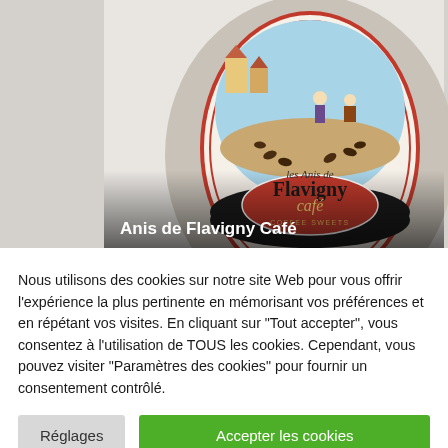[Figure (photo): Product photo of Anis de Flavigny Café candy tin with illustrated oval label showing a French village scene, coffee beans, and the brand name 'les Anis de Flavigny' with 'café' in a red oval.]
Anis de Flavigny Café
Nous utilisons des cookies sur notre site Web pour vous offrir l'expérience la plus pertinente en mémorisant vos préférences et en répétant vos visites. En cliquant sur "Tout accepter", vous consentez à l'utilisation de TOUS les cookies. Cependant, vous pouvez visiter "Paramètres des cookies" pour fournir un consentement contrôlé.
Réglages
Accepter les cookies